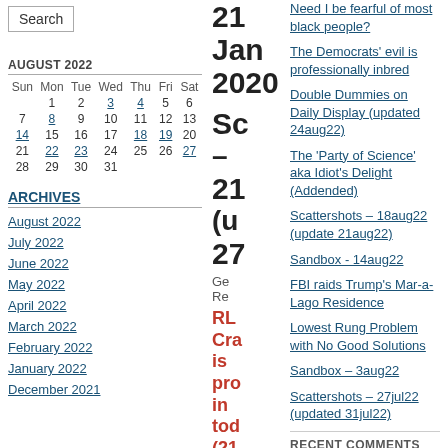Search
AUGUST 2022
| Sun | Mon | Tue | Wed | Thu | Fri | Sat |
| --- | --- | --- | --- | --- | --- | --- |
|  | 1 | 2 | 3 | 4 | 5 | 6 |
| 7 | 8 | 9 | 10 | 11 | 12 | 13 |
| 14 | 15 | 16 | 17 | 18 | 19 | 20 |
| 21 | 22 | 23 | 24 | 25 | 26 | 27 |
| 28 | 29 | 30 | 31 |  |  |  |
ARCHIVES
August 2022
July 2022
June 2022
May 2022
April 2022
March 2022
February 2022
January 2022
December 2021
21 Jan 2020
Sc - 21 (u 27
Ge Re
RL Cra is pro in tod (21 Un lan AB
Need I be fearful of most black people?
The Democrats' evil is professionally inbred
Double Dummies on Daily Display (updated 24aug22)
The 'Party of Science' aka Idiot's Delight (Addended)
Scattershots – 18aug22 (update 21aug22)
Sandbox - 14aug22
FBI raids Trump's Mar-a-Lago Residence
Lowest Rung Problem with No Good Solutions
Sandbox – 3aug22
Scattershots – 27jul22 (updated 31jul22)
RECENT COMMENTS
Bill Tozer on FBI raids Trump's Mar-a-Lago Residence